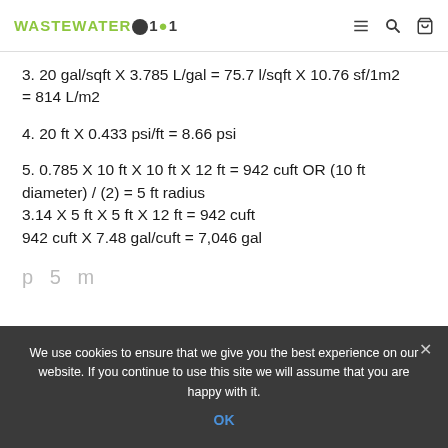WASTEWATER101 [logo] — navigation icons
3. 20 gal/sqft X 3.785 L/gal = 75.7 l/sqft X 10.76 sf/1m2 = 814 L/m2
4. 20 ft X 0.433 psi/ft = 8.66 psi
5. 0.785 X 10 ft X 10 ft X 12 ft = 942 cuft OR (10 ft diameter) / (2) = 5 ft radius
3.14 X 5 ft X 5 ft X 12 ft = 942 cuft
942 cuft X 7.48 gal/cuft = 7,046 gal
We use cookies to ensure that we give you the best experience on our website. If you continue to use this site we will assume that you are happy with it.
OK